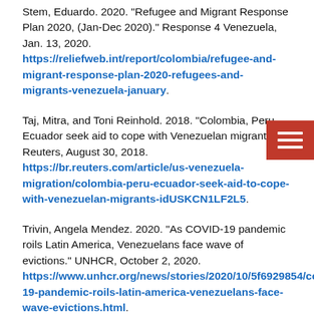Stem, Eduardo. 2020. "Refugee and Migrant Response Plan 2020, (Jan-Dec 2020)." Response 4 Venezuela, Jan. 13, 2020. https://reliefweb.int/report/colombia/refugee-and-migrant-response-plan-2020-refugees-and-migrants-venezuela-january.
Taj, Mitra, and Toni Reinhold. 2018. "Colombia, Peru, Ecuador seek aid to cope with Venezuelan migrants." Reuters, August 30, 2018. https://br.reuters.com/article/us-venezuela-migration/colombia-peru-ecuador-seek-aid-to-cope-with-venezuelan-migrants-idUSKCN1LF2L5.
Trivin, Angela Mendez. 2020. "As COVID-19 pandemic roils Latin America, Venezuelans face wave of evictions." UNHCR, October 2, 2020. https://www.unhcr.org/news/stories/2020/10/5f6929854/covid-19-pandemic-roils-latin-america-venezuelans-face-wave-evictions.html.
Trump, Donald J. 2020. "Presidential Determination on Refugee Admissions for Fiscal Year 2020." White House Residential Memoranda, October 28, 2020.